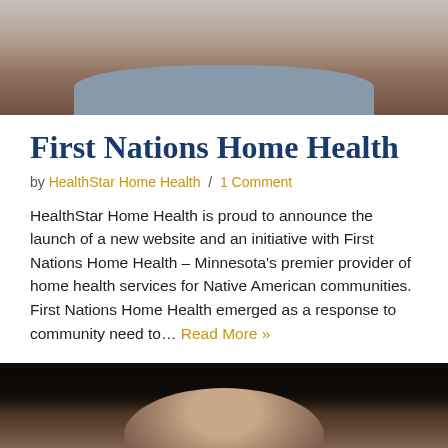[Figure (photo): Close-up photo of a person's face and upper body wearing a grey t-shirt, cropped to show neck and chin area]
First Nations Home Health
by HealthStar Home Health / 1 Comment
HealthStar Home Health is proud to announce the launch of a new website and an initiative with First Nations Home Health – Minnesota's premier provider of home health services for Native American communities. First Nations Home Health emerged as a response to community need to… Read More »
[Figure (photo): Close-up photo of an elderly woman's face with dark hair, showing forehead and eyes with wrinkles]